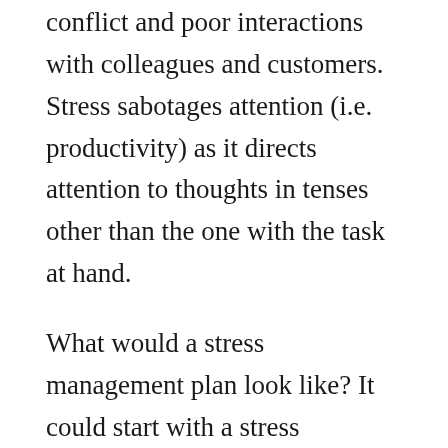conflict and poor interactions with colleagues and customers. Stress sabotages attention (i.e. productivity) as it directs attention to thoughts in tenses other than the one with the task at hand.
What would a stress management plan look like? It could start with a stress management training for employees and management that lets folks know we are all in this together and that we can make our lives and work easier with tools that increase resilience and coping capacity.
Almost all of us are flying blind when it comes to stress management, since the culture doesn't teach us those skills. So the need now for everyone to